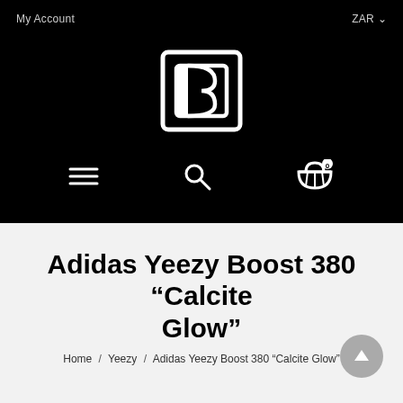My Account    ZAR
[Figure (logo): Stylized letter B logo in white outline on black background]
Adidas Yeezy Boost 380 “Calcite Glow”
Home / Yeezy / Adidas Yeezy Boost 380 “Calcite Glow”